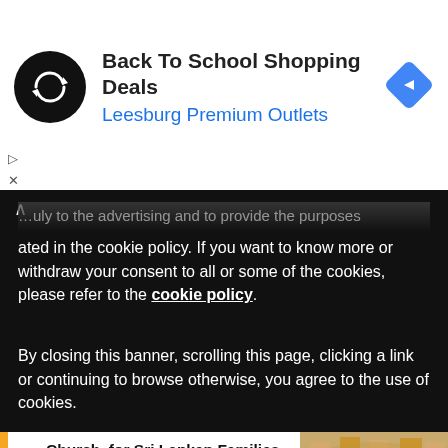[Figure (screenshot): Advertisement banner: black circular logo with infinity-style arrow icon, text 'Back To School Shopping Deals / Leesburg Premium Outlets', blue diamond navigation arrow icon on right. Small play/close controls on left below banner.]
...ated in the cookie policy. If you want to know more or withdraw your consent to all or some of the cookies, please refer to the cookie policy.
By closing this banner, scrolling this page, clicking a link or continuing to browse otherwise, you agree to the use of cookies.
Church, for Sri Lankan Families
400 families will benefit from this aid
Pope Francis on Cardinal Ouellet: There Is Not Enough Evidence to Open a Canonical...